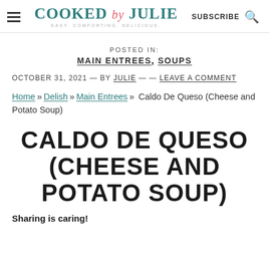COOKED by JULIE — EASY. COMFORTING. DELICIOUS. — SUBSCRIBE
POSTED IN:
MAIN ENTREES, SOUPS
OCTOBER 31, 2021 — BY JULIE — — LEAVE A COMMENT
Home » Delish » Main Entrees » Caldo De Queso (Cheese and Potato Soup)
CALDO DE QUESO (CHEESE AND POTATO SOUP)
Sharing is caring!